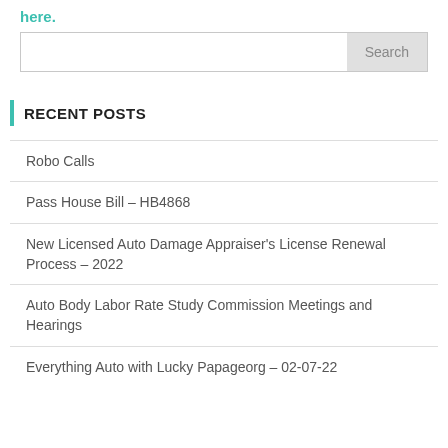here.
Search
RECENT POSTS
Robo Calls
Pass House Bill – HB4868
New Licensed Auto Damage Appraiser's License Renewal Process – 2022
Auto Body Labor Rate Study Commission Meetings and Hearings
Everything Auto with Lucky Papageorg – 02-07-22